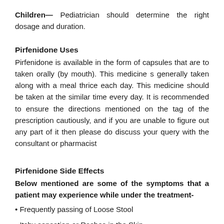Children— Pediatrician should determine the right dosage and duration.
Pirfenidone Uses
Pirfenidone is available in the form of capsules that are to taken orally (by mouth). This medicine s generally taken along with a meal thrice each day. This medicine should be taken at the similar time every day. It is recommended to ensure the directions mentioned on the tag of the prescription cautiously, and if you are unable to figure out any part of it then please do discuss your query with the consultant or pharmacist
Pirfenidone Side Effects
Below mentioned are some of the symptoms that a patient may experience while under the treatment-
• Frequently passing of Loose Stool
• Itchy sensation or Rashes in the Skin